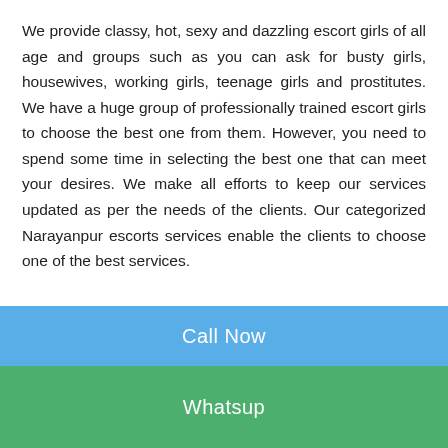We provide classy, hot, sexy and dazzling escort girls of all age and groups such as you can ask for busty girls, housewives, working girls, teenage girls and prostitutes. We have a huge group of professionally trained escort girls to choose the best one from them. However, you need to spend some time in selecting the best one that can meet your desires. We make all efforts to keep our services updated as per the needs of the clients. Our categorized Narayanpur escorts services enable the clients to choose one of the best services.
Why Erotic Narayanpur Escorts Agency is leader in industry?
Call Now
Whatsup